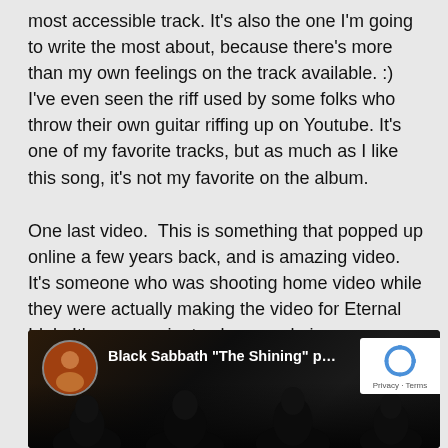most accessible track. It's also the one I'm going to write the most about, because there's more than my own feelings on the track available. :) I've even seen the riff used by some folks who throw their own guitar riffing up on Youtube. It's one of my favorite tracks, but as much as I like this song, it's not my favorite on the album.
One last video.  This is something that popped up online a few years back, and is amazing video.  It's someone who was shooting home video while they were actually making the video for Eternal Idol.  It's seven minutes long, and gives you a look at how they put the video together.  Very cool stuff.
[Figure (screenshot): YouTube video thumbnail showing Black Sabbath 'The Shining' promo video, with a circular avatar image of a person in the upper left, dark background with silhouetted figures, and a reCAPTCHA badge in the upper right corner with Privacy - Terms text.]